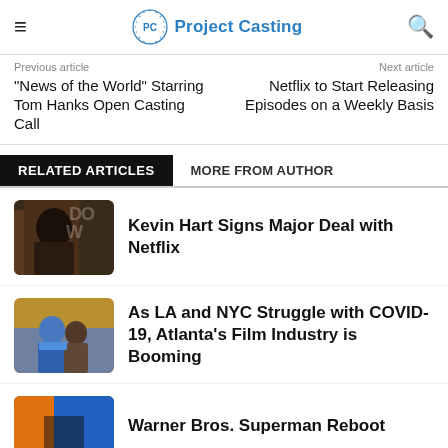Project Casting
Previous article
Next article
"News of the World" Starring Tom Hanks Open Casting Call
Netflix to Start Releasing Episodes on a Weekly Basis
RELATED ARTICLES	MORE FROM AUTHOR
Kevin Hart Signs Major Deal with Netflix
As LA and NYC Struggle with COVID-19, Atlanta's Film Industry is Booming
Warner Bros. Superman Reboot